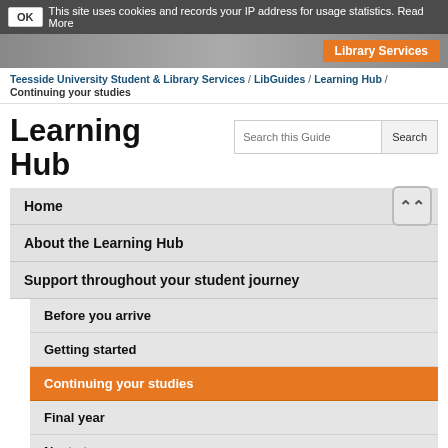This site uses cookies and records your IP address for usage statistics. Read More
Library Services
Teesside University Student & Library Services / LibGuides / Learning Hub / Continuing your studies
Learning Hub
Home
About the Learning Hub
Support throughout your student journey
Before you arrive
Getting started
Continuing your studies
Final year
Next steps